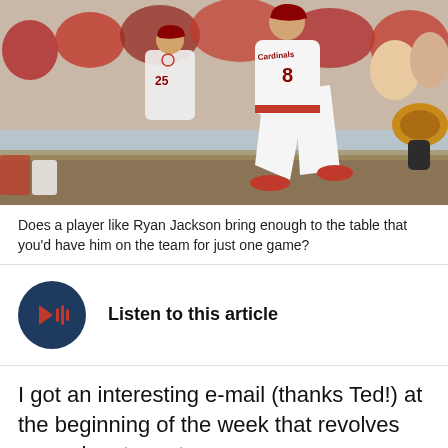[Figure (photo): A St. Louis Cardinals baseball player wearing number 8 running on the field, with teammates and spectators in red in the background. A catcher's glove is visible on the right side.]
Does a player like Ryan Jackson bring enough to the table that you'd have him on the team for just one game?
[Figure (infographic): Listen to this article button — dark navy circle with red play/audio icon, followed by bold text 'Listen to this article']
I got an interesting e-mail (thanks Ted!) at the beginning of the week that revolves around roster set